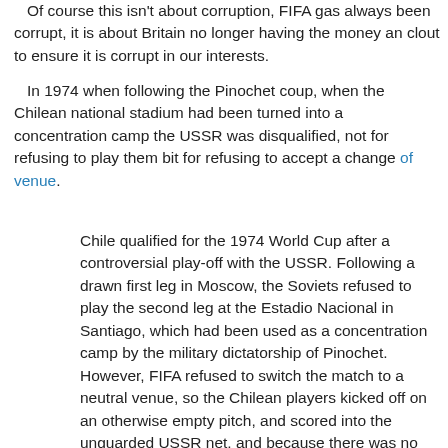Of course this isn't about corruption, FIFA gas always been corrupt, it is about Britain no longer having the money an clout to ensure it is corrupt in our interests.
In 1974 when following the Pinochet coup, when the Chilean national stadium had been turned into a concentration camp the USSR was disqualified, not for refusing to play them bit for refusing to accept a change of venue.
Chile qualified for the 1974 World Cup after a controversial play-off with the USSR. Following a drawn first leg in Moscow, the Soviets refused to play the second leg at the Estadio Nacional in Santiago, which had been used as a concentration camp by the military dictatorship of Pinochet. However, FIFA refused to switch the match to a neutral venue, so the Chilean players kicked off on an otherwise empty pitch, and scored into the unguarded USSR net, and because there was no opposition to restart the